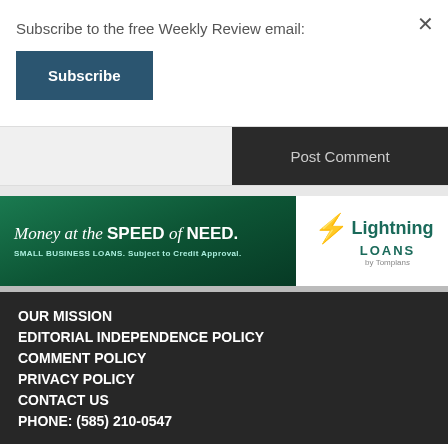Subscribe to the free Weekly Review email:
Subscribe
Post Comment
[Figure (other): Lightning Loans advertisement banner: 'Money at the SPEED of NEED. SMALL BUSINESS LOANS. Subject to Credit Approval.' with Lightning Loans by Tomplans logo]
OUR MISSION
EDITORIAL INDEPENDENCE POLICY
COMMENT POLICY
PRIVACY POLICY
CONTACT US
PHONE: (585) 210-0547